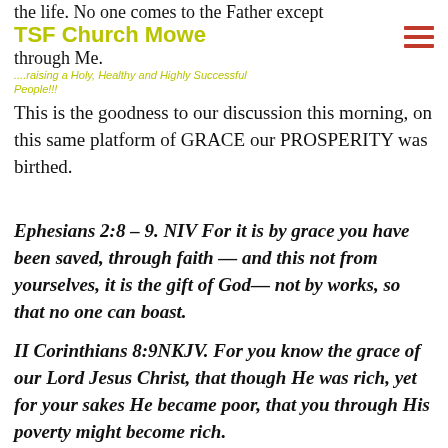the life. No one comes to the Father except through Me.
TSF Church Mowe
....raising a Holy, Healthy and Highly Successful People!!!
This is the goodness to our discussion this morning, on this same platform of GRACE our PROSPERITY was birthed.
Ephesians 2:8 – 9. NIV For it is by grace you have been saved, through faith — and this not from yourselves, it is the gift of God— not by works, so that no one can boast.
II Corinthians 8:9NKJV. For you know the grace of our Lord Jesus Christ, that though He was rich, yet for your sakes He became poor, that you through His poverty might become rich.